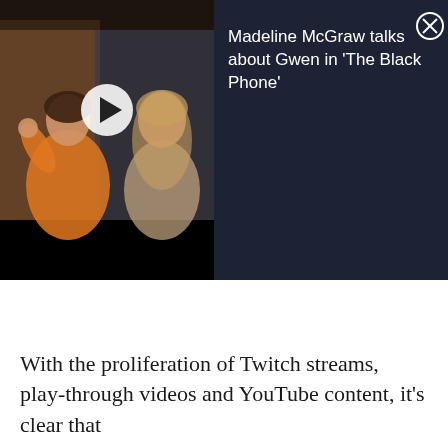[Figure (screenshot): Video player thumbnail showing two women in a split-screen interview setup, with a white play button overlaid in the center. Left side shows a woman in an orange/yellow ruffled top waving. Right side shows a woman with long blonde hair.]
Madeline McGraw talks about Gwen in 'The Black Phone'
With the proliferation of Twitch streams, play-through videos and YouTube content, it's clear that